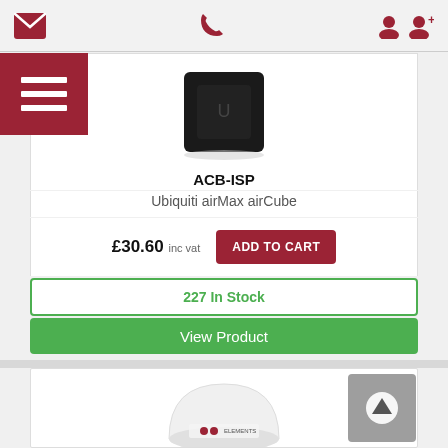Navigation bar with email, phone, and user account icons
[Figure (screenshot): Ubiquiti airCube ACB-ISP product image — black cube-shaped device on white background]
ACB-ISP
Ubiquiti airMax airCube
£30.60 inc vat  ADD TO CART
227 In Stock
View Product
[Figure (photo): Elements brand white dome-shaped motion detector/sensor device, partially visible at bottom of page]